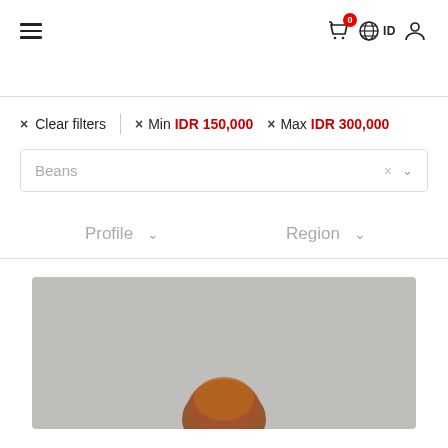Navigation header with hamburger menu, cart icon (badge: 0), globe/ID language selector, and user profile icon
× Clear filters  |  × Min IDR 150,000  × Max IDR 300,000
Beans
Profile  ∨    Region  ∨
[Figure (photo): Product image with grey background showing a partial view of a round red/brown product, partially cut off at the bottom of the page]